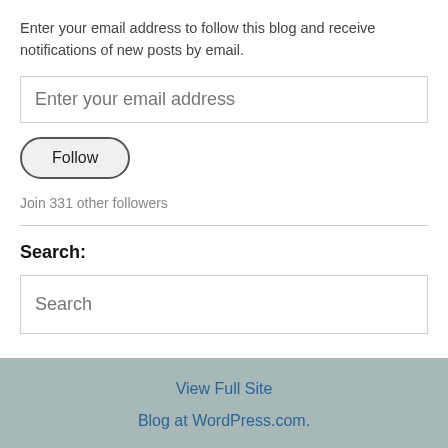Enter your email address to follow this blog and receive notifications of new posts by email.
Enter your email address
Follow
Join 331 other followers
Search:
Search
View Full Site
Blog at WordPress.com.